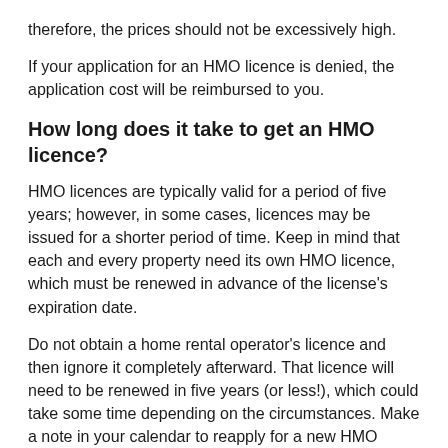therefore, the prices should not be excessively high.
If your application for an HMO licence is denied, the application cost will be reimbursed to you.
How long does it take to get an HMO licence?
HMO licences are typically valid for a period of five years; however, in some cases, licences may be issued for a shorter period of time. Keep in mind that each and every property need its own HMO licence, which must be renewed in advance of the license's expiration date.
Do not obtain a home rental operator's licence and then ignore it completely afterward. That licence will need to be renewed in five years (or less!), which could take some time depending on the circumstances. Make a note in your calendar to reapply for a new HMO licence before the one you now have expires. If you use landlord software, helpful reminders for things like this are all included in the package,